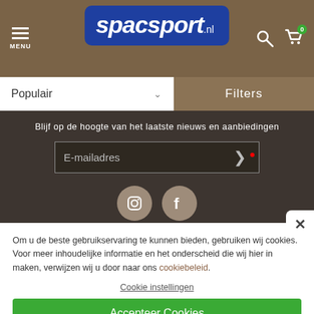[Figure (screenshot): Spacsport.nl website header with navigation menu icon, logo, search icon, and cart icon (0 items)]
Populair
Filters
Blijf op de hoogte van het laatste nieuws en aanbiedingen
E-mailadres
[Figure (illustration): Instagram and Facebook social media icons in taupe/gray circles]
Om u de beste gebruikservaring te kunnen bieden, gebruiken wij cookies. Voor meer inhoudelijke informatie en het onderscheid die wij hier in maken, verwijzen wij u door naar ons cookiebeleid.
Cookie instellingen
Accepteer Cookies
Contact